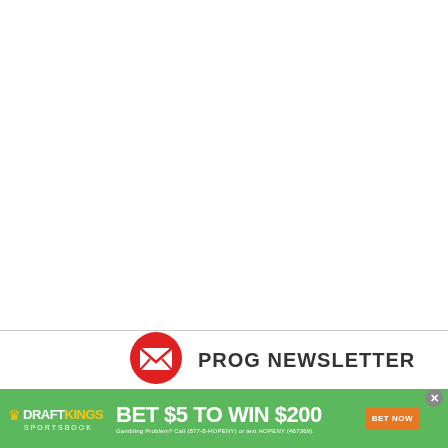[Figure (other): Large white blank area at top of page]
PROG NEWSLETTER
[Figure (infographic): DraftKings Sportsbook advertisement banner: BET $5 TO WIN $200, with BET NOW button and responsible gambling disclaimer. Gambling Problem? Call (877-8-HOPENY) or text HOPENY (467369).]